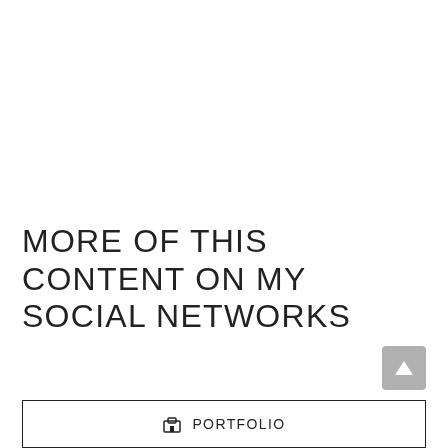MORE OF THIS CONTENT ON MY SOCIAL NETWORKS
[Figure (other): Gray scroll-to-top button with upward triangle arrow]
PORTFOLIO